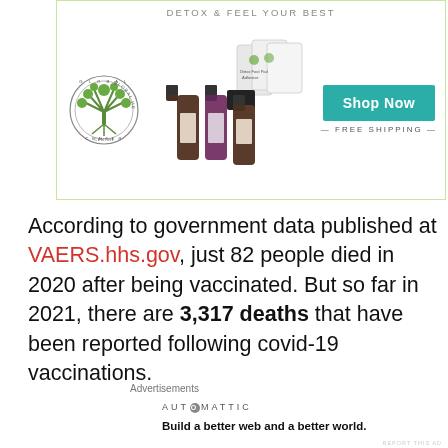[Figure (illustration): Advertisement for Global Healing Center showing detox foot pad products, dropper bottles, a 'Shop Now' teal button, and 'FREE SHIPPING' text. A circular logo reads 'Global Healing Center'. The ad title says 'DETOX & FEEL YOUR BEST'.]
According to government data published at VAERS.hhs.gov, just 82 people died in 2020 after being vaccinated. But so far in 2021, there are 3,317 deaths that have been reported following covid-19 vaccinations.
Advertisements
AUT⊙MATTIC
Build a better web and a better world.
REPORT THIS AD